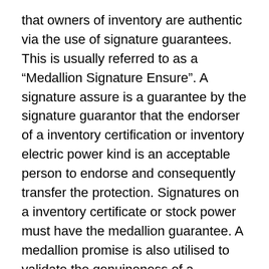that owners of inventory are authentic via the use of signature guarantees. This is usually referred to as a “Medallion Signature Ensure”. A signature assure is a guarantee by the signature guarantor that the endorser of a inventory certification or inventory electric power kind is an acceptable person to endorse and consequently transfer the protection. Signatures on a inventory certificate or stock power must have the medallion guarantee. A medallion promise is also utilised to validate the genuineness of a securities transaction document (generally a inventory certification). It is backed by a bond and protects the issuer of the stability and their transfer agent from fraudulently transferred securities. A medallion guarantee could be received from most main banking institutions, brokerage corporations or credit history unions.[4]